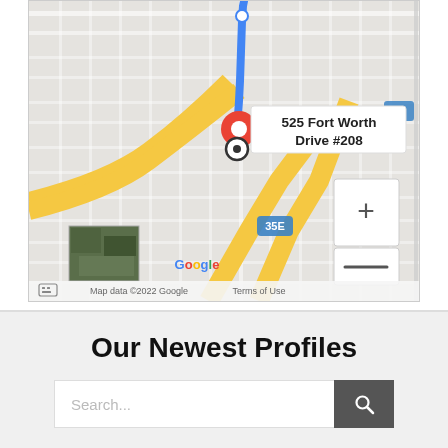[Figure (map): Google Maps screenshot showing a location pin at 525 Fort Worth Drive #208, with a blue route line, zoom controls (+/-), satellite thumbnail, Google branding, and 'Map data ©2022 Google  Terms of Use' footer.]
Our Newest Profiles
Search...